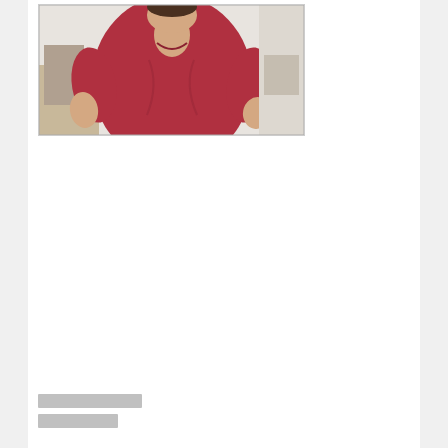[Figure (photo): Partial photo of a person wearing a red/crimson t-shirt, upper body visible, taken indoors with light background]
░░░░░░░░
░░░░░░░